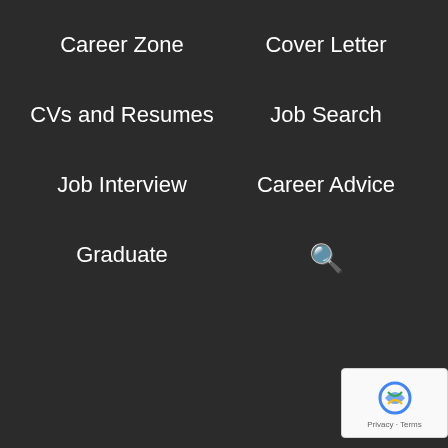Career Zone | Cover Letter | CVs and Resumes | Job Search | Job Interview | Career Advice | Graduate | Search
wever in the rare occurrence when the ndidate feed-back is negative, it nearly ways falls down to two areas;
Not Answering the Question – You need to focus on answering the questions being asked.  Yes, you can use examples, however, you need to answer the question that's being asked quickly. All to often, candidates talk about this